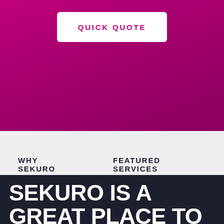[Figure (screenshot): Magenta/pink gradient background section with a white rounded rectangle button]
QUICK QUOTE
WHY SEKURO
FEATURED SERVICES
INSIGHTS
LATEST NEWS
SEKURO IS A GREAT PLACE TO WORK – AND THAT'S